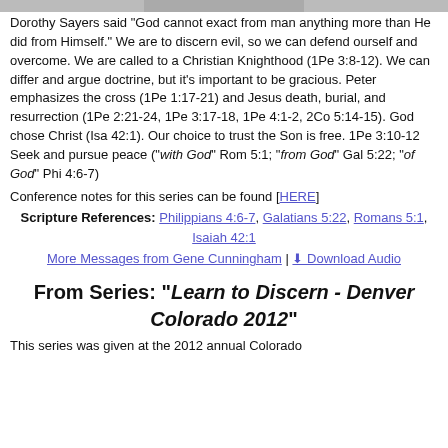Dorothy Sayers said "God cannot exact from man anything more than He did from Himself." We are to discern evil, so we can defend ourself and overcome. We are called to a Christian Knighthood (1Pe 3:8-12). We can differ and argue doctrine, but it's important to be gracious. Peter emphasizes the cross (1Pe 1:17-21) and Jesus death, burial, and resurrection (1Pe 2:21-24, 1Pe 3:17-18, 1Pe 4:1-2, 2Co 5:14-15). God chose Christ (Isa 42:1). Our choice to trust the Son is free. 1Pe 3:10-12 Seek and pursue peace ("with God" Rom 5:1; "from God" Gal 5:22; "of God" Phi 4:6-7)
Conference notes for this series can be found [HERE]
Scripture References: Philippians 4:6-7, Galatians 5:22, Romans 5:1, Isaiah 42:1
More Messages from Gene Cunningham | Download Audio
From Series: "Learn to Discern - Denver Colorado 2012"
This series was given at the 2012 annual Colorado